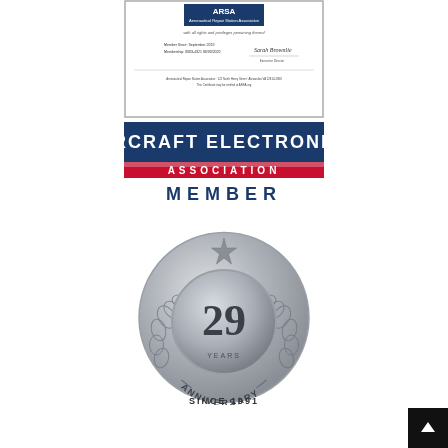[Figure (illustration): ARSA Aeronautical Repair Station Association certificate/membership card with logo, signature, member number and expiration date]
[Figure (logo): Aircraft Electronics Association Member logo with blue header text 'AIRCRAFT ELECTRONICS', red/white striped bar with 'ASSOCIATION', and blue text 'MEMBER']
[Figure (illustration): 29 Years Anniversary badge/medallion in silver/gray with laurel wreath, star at top, '29' in center, 'YEARS ANNIVERSARY' around bottom]
SINCE 1991